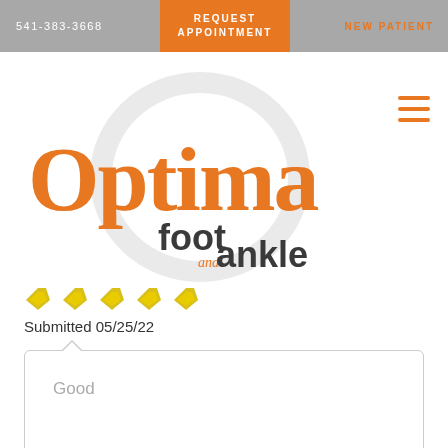541-383-3668  REQUEST APPOINTMENT  NEW PATIENT
[Figure (logo): Optima Foot and Ankle logo — orange Optima text with circular grey ring and 'foot and ankle' text inside]
[Figure (infographic): Five yellow star rating]
Submitted 05/25/22
Good
LINDA A.